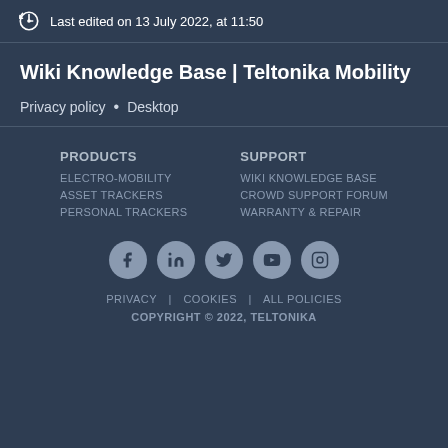Last edited on 13 July 2022, at 11:50
Wiki Knowledge Base | Teltonika Mobility
Privacy policy • Desktop
PRODUCTS
ELECTRO-MOBILITY
ASSET TRACKERS
PERSONAL TRACKERS
SUPPORT
WIKI KNOWLEDGE BASE
CROWD SUPPORT FORUM
WARRANTY & REPAIR
[Figure (illustration): Social media icons: Facebook, LinkedIn, Twitter, YouTube, Instagram]
PRIVACY | COOKIES | ALL POLICIES
COPYRIGHT © 2022, TELTONIKA